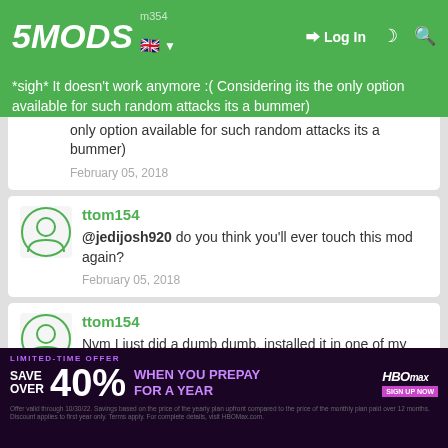5MODS | Log In
*sigh* It doesn't work anymore :( Considering its the only option available for such random attacks its a bummer) — February 05, 2018
ttom154 — @jedijosh920 do you think you'll ever touch this mod again? — February 05, 2018
ttom154 — Nvm I just did a dumb dumb, installed it in one of my backup saves.... *Massive Facepalm* lol — February 05, 2018
FlameHazeShana
[Figure (screenshot): HBO Max advertisement banner: LIMITED-TIME OFFER, SAVE OVER 40% WHEN YOU PREPAY FOR A YEAR, with fine print]